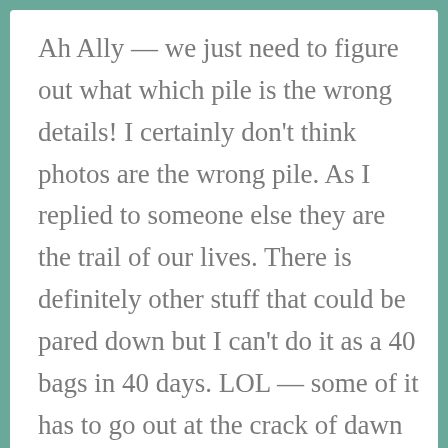Ah Ally — we just need to figure out what which pile is the wrong details! I certainly don't think photos are the wrong pile. As I replied to someone else they are the trail of our lives. There is definitely other stuff that could be pared down but I can't do it as a 40 bags in 40 days. LOL — some of it has to go out at the crack of dawn when I leave for work so that the packrat doesn't